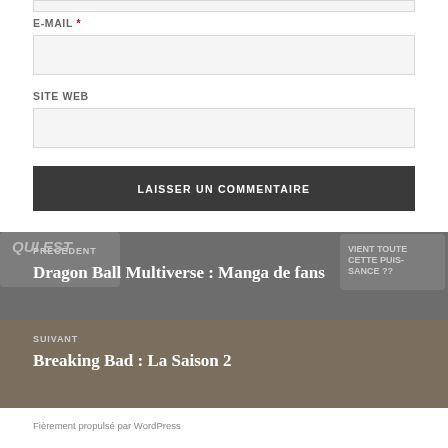E-MAIL *
SITE WEB
LAISSER UN COMMENTAIRE
PRÉCÉDENT
Dragon Ball Multiverse : Manga de fans
SUIVANT
Breaking Bad : La Saison 2
Fièrement propulsé par WordPress